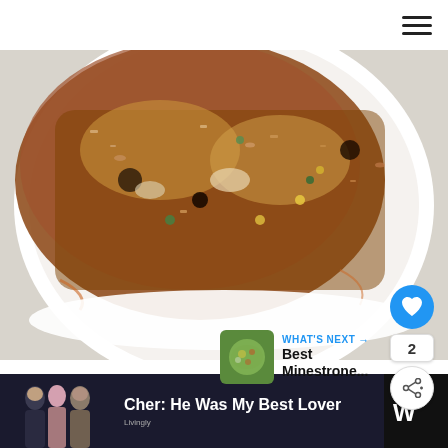[Figure (photo): Hamburger/menu icon in top right corner of navigation bar]
[Figure (photo): Close-up photo of a white bowl containing a grain and vegetable dish, viewed from above, with sauce residue on the bowl interior]
2
[Figure (photo): What's Next section showing a small thumbnail of minestrone soup with text 'WHAT'S NEXT → Best Minestrone...']
[Figure (photo): Advertisement banner at bottom: photo of celebrities (Cher related) with text 'Cher: He Was My Best Lover' and Livingly logo]